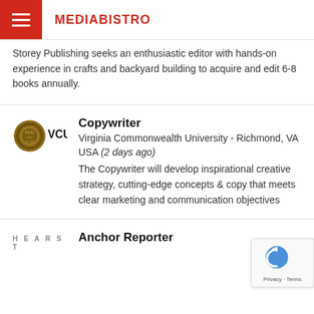MEDIABISTRO
Storey Publishing seeks an enthusiastic editor with hands-on experience in crafts and backyard building to acquire and edit 6-8 books annually.
Copywriter
Virginia Commonwealth University - Richmond, VA USA (2 days ago)
The Copywriter will develop inspirational creative strategy, cutting-edge concepts & copy that meets clear marketing and communication objectives
Anchor Reporter